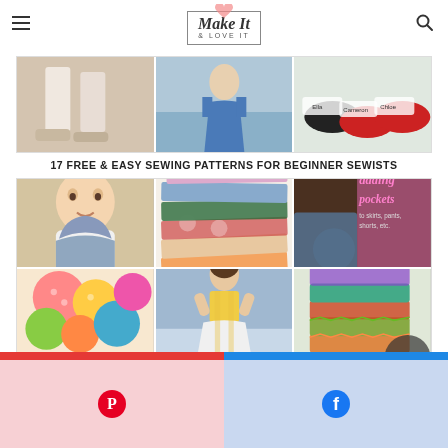Make It & Love It
[Figure (photo): Top strip of three photos: cropped legs/feet, woman in blue dress at water, children's shoes with name tags]
17 FREE & EASY SEWING PATTERNS FOR BEGINNER SEWISTS
[Figure (photo): Grid of six sewing-related photos: baby wearing bib, colorful fabric swatches stacked, 'adding pockets to skirts pants shorts etc.' tutorial, colorful fabric balls/pincushions, girl in yellow top and white skirt, stack of folded colorful fabrics]
[Figure (infographic): Pinterest and Facebook share buttons at bottom of page]